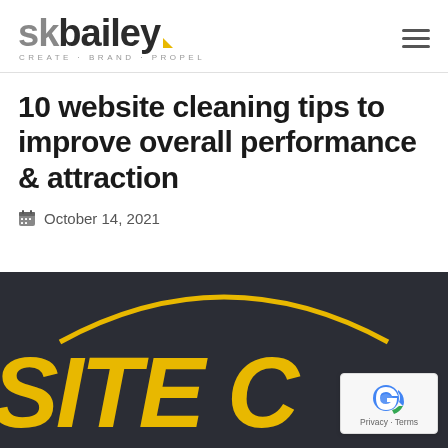[Figure (logo): SK Bailey logo with tagline CREATE · BRAND · PROPEL and yellow triangle accent]
10 website cleaning tips to improve overall performance & attraction
October 14, 2021
[Figure (photo): Dark background photo showing partial yellow text reading SITE C, with orange arc overlay. Bottom right corner has a reCAPTCHA Privacy · Terms badge.]